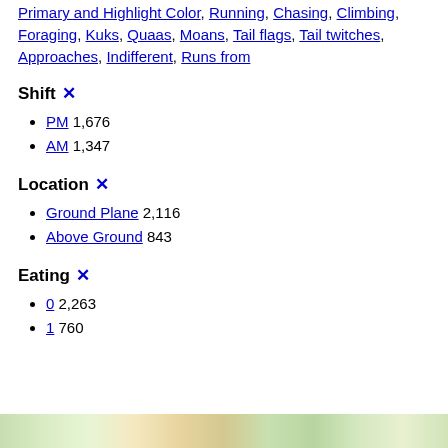Primary and Highlight Color, Running, Chasing, Climbing, Foraging, Kuks, Quaas, Moans, Tail flags, Tail twitches, Approaches, Indifferent, Runs from
Shift ✕
PM 1,676
AM 1,347
Location ✕
Ground Plane 2,116
Above Ground 843
Eating ✕
0 2,263
1 760
[Figure (map): Colorful map strip at the bottom of the page]